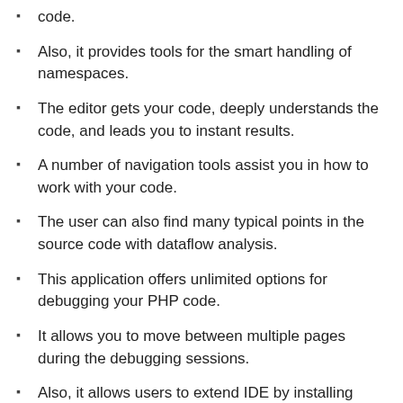code.
Also, it provides tools for the smart handling of namespaces.
The editor gets your code, deeply understands the code, and leads you to instant results.
A number of navigation tools assist you in how to work with your code.
The user can also find many typical points in the source code with dataflow analysis.
This application offers unlimited options for debugging your PHP code.
It allows you to move between multiple pages during the debugging sessions.
Also, it allows users to extend IDE by installing plugins such as XDebug, Zend, etc.
The program comes with all features of WebStorm related to CSS, HTML, and JavaScript.
It offers a Live Edit feature that saves a lot of your time